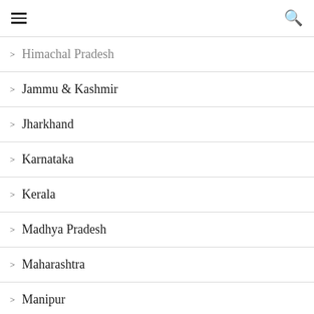≡  🔍
Himachal Pradesh
Jammu & Kashmir
Jharkhand
Karnataka
Kerala
Madhya Pradesh
Maharashtra
Manipur
New Delhi